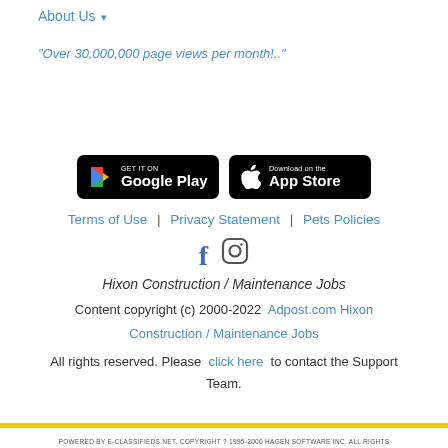About Us ▾
"Over 30,000,000 page views per month!.."
[Figure (other): Google Play and Apple App Store download buttons]
Terms of Use | Privacy Statement | Pets Policies
[Figure (other): Facebook and Instagram social media icons]
Hixon Construction / Maintenance Jobs
Content copyright (c) 2000-2022 Adpost.com Hixon Construction / Maintenance Jobs
All rights reserved. Please click here to contact the Support Team.
POWERED BY E-CLASSIFIEDS.NET. COPYRIGHT ? 1995-2000 HAGEN SOFTWARE INC. ALL RIGHTS